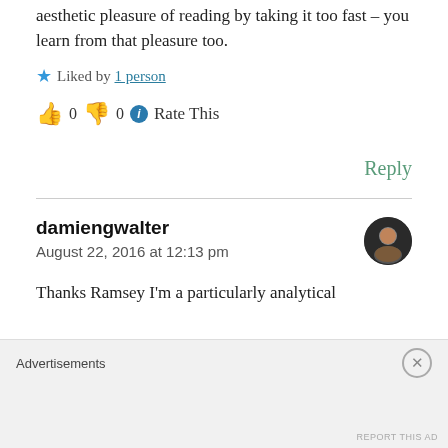aesthetic pleasure of reading by taking it too fast – you learn from that pleasure too.
★ Liked by 1 person
👍 0 👎 0 ℹ Rate This
Reply
damiengwalter
August 22, 2016 at 12:13 pm
Thanks Ramsey I'm a particularly analytical
Advertisements